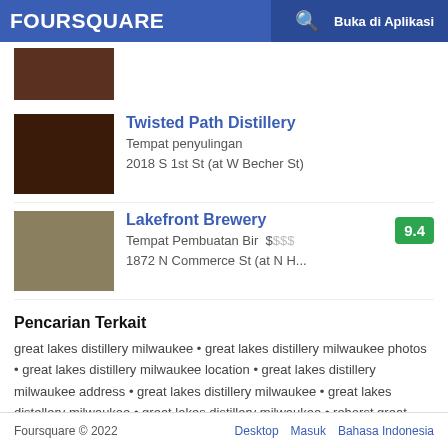FOURSQUARE  Buka di Aplikasi
[Figure (photo): Partial listing image at top of scroll]
Twisted Path Distillery
Tempat penyulingan
2018 S 1st St (at W Becher St)
[Figure (photo): Interior photo of Twisted Path Distillery]
Lakefront Brewery
Tempat Pembuatan Bir  $$$
1872 N Commerce St (at N H...)
Score: 9.4
[Figure (photo): Exterior photo of Lakefront Brewery]
Pencarian Terkait
great lakes distillery milwaukee • great lakes distillery milwaukee photos • great lakes distillery milwaukee location • great lakes distillery milwaukee address • great lakes distillery milwaukee • great lakes distellery milwaukee • great lakes distillery milwaukee • rehorst great lakes distillery milwaukee • rehorst - great lakes distillery milwaukee • great lakes distillery walker's point milwaukee
Foursquare © 2022   Desktop  Masuk  Bahasa Indonesia